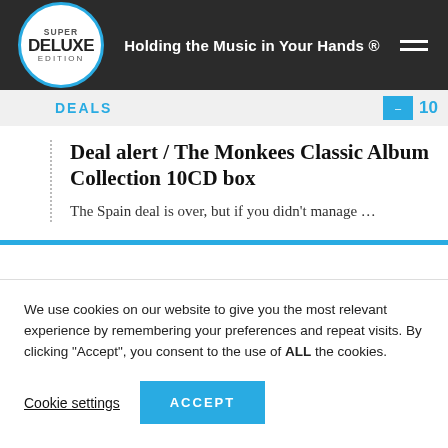Super Deluxe Edition — Holding the Music in Your Hands ®
DEALS — 10
Deal alert / The Monkees Classic Album Collection 10CD box
The Spain deal is over, but if you didn't manage …
FRI 03 JUN
[Figure (other): Red circle with text GRAB A, overlapping a gray image area]
[Figure (infographic): Blue banner with X close button and text NEVER MISS A RELEASE.]
We use cookies on our website to give you the most relevant experience by remembering your preferences and repeat visits. By clicking "Accept", you consent to the use of ALL the cookies.
Cookie settings    ACCEPT